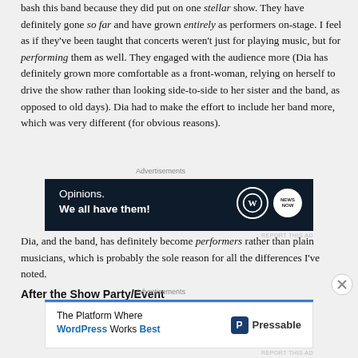bash this band because they did put on one stellar show. They have definitely gone so far and have grown entirely as performers on-stage. I feel as if they've been taught that concerts weren't just for playing music, but for performing them as well. They engaged with the audience more (Dia has definitely grown more comfortable as a front-woman, relying on herself to drive the show rather than looking side-to-side to her sister and the band, as opposed to old days). Dia had to make the effort to include her band more, which was very different (for obvious reasons).
[Figure (other): WordPress advertisement banner: dark navy background with text 'Opinions. We all have them!' and WordPress logo and another circular logo on the right.]
Dia, and the band, has definitely become performers rather than plain musicians, which is probably the sole reason for all the differences I've noted.
After the Show Party/Event
[Figure (other): Pressable WordPress advertisement: white background with text 'The Platform Where WordPress Works Best' and Pressable logo on the right.]